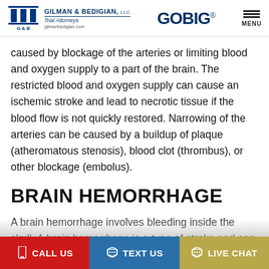Gilman & Bedigian, LLC Trial Attorneys | GOBIG | MENU
caused by blockage of the arteries or limiting blood and oxygen supply to a part of the brain. The restricted blood and oxygen supply can cause an ischemic stroke and lead to necrotic tissue if the blood flow is not quickly restored. Narrowing of the arteries can be caused by a buildup of plaque (atheromatous stenosis), blood clot (thrombus), or other blockage (embolus).
BRAIN HEMORRHAGE
A brain hemorrhage involves bleeding inside the skull. A brain hemorrhage is a type of stroke and can kill brain cells. There are different times of cerebral hemorrhages or intracranial
CALL US | TEXT US | LIVE CHAT